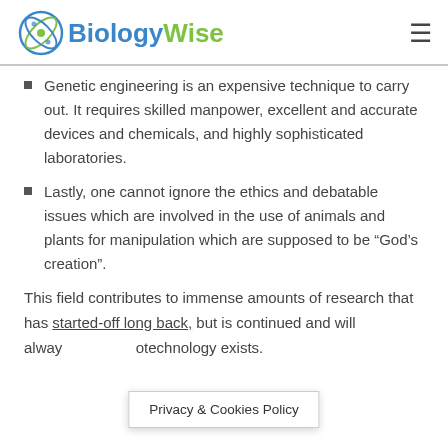BiologyWise
Genetic engineering is an expensive technique to carry out. It requires skilled manpower, excellent and accurate devices and chemicals, and highly sophisticated laboratories.
Lastly, one cannot ignore the ethics and debatable issues which are involved in the use of animals and plants for manipulation which are supposed to be “God’s creation”.
This field contributes to immense amounts of research that has started-off long back, but is continued and will alway... otechnology exists.
Privacy & Cookies Policy